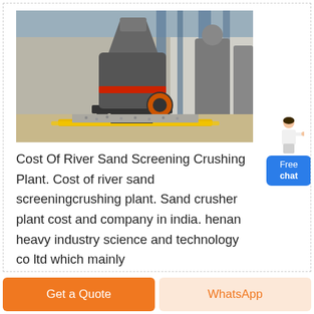[Figure (photo): Industrial crushing/grinding machine (cone crusher or roller mill) in a large factory hall. The machine is dark grey with a red accent ring, mounted on a black steel frame on a concrete floor with gravel. Other similar machines visible in background. Industrial ceiling with blue steel beams.]
Cost Of River Sand Screening Crushing Plant. Cost of river sand screeningcrushing plant. Sand crusher plant cost and company in india. henan heavy industry science and technology co ltd which mainly
[Figure (illustration): Small cartoon illustration of a woman in white jacket pointing, used as a chat assistant avatar.]
Free chat
Get a Quote
WhatsApp